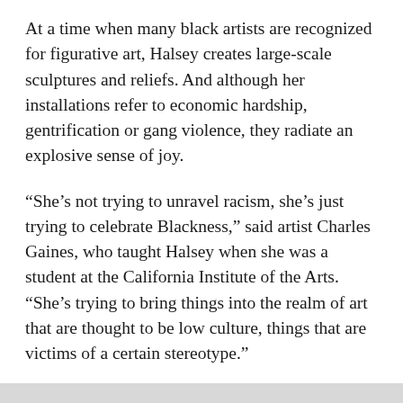At a time when many black artists are recognized for figurative art, Halsey creates large-scale sculptures and reliefs. And although her installations refer to economic hardship, gentrification or gang violence, they radiate an explosive sense of joy.
“She’s not trying to unravel racism, she’s just trying to celebrate Blackness,” said artist Charles Gaines, who taught Halsey when she was a student at the California Institute of the Arts. “She’s trying to bring things into the realm of art that are thought to be low culture, things that are victims of a certain stereotype.”
Halsey has achieved fame and fame that is rare for an artist of only 34 years. Her work is already in the collections of major institutions such as the Hammer Museum and the Museum of Contemporary Art in Los